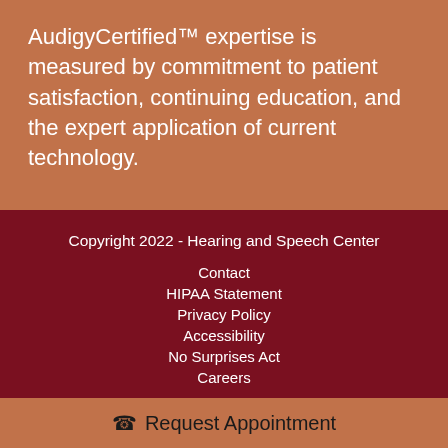AudigyCertified™ expertise is measured by commitment to patient satisfaction, continuing education, and the expert application of current technology.
Copyright 2022 - Hearing and Speech Center
Contact
HIPAA Statement
Privacy Policy
Accessibility
No Surprises Act
Careers
☎ Request Appointment